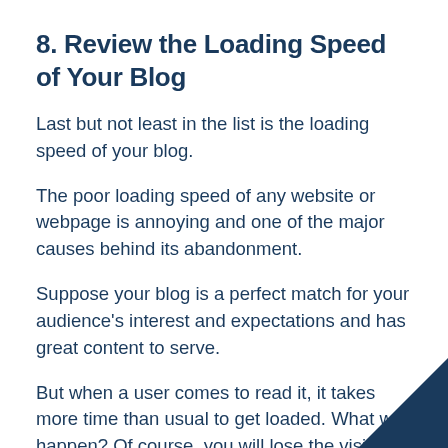8. Review the Loading Speed of Your Blog
Last but not least in the list is the loading speed of your blog.
The poor loading speed of any website or webpage is annoying and one of the major causes behind its abandonment.
Suppose your blog is a perfect match for your audience's interest and expectations and has great content to serve.
But when a user comes to read it, it takes more time than usual to get loaded. What will happen? Of course, you will lose the visitor.